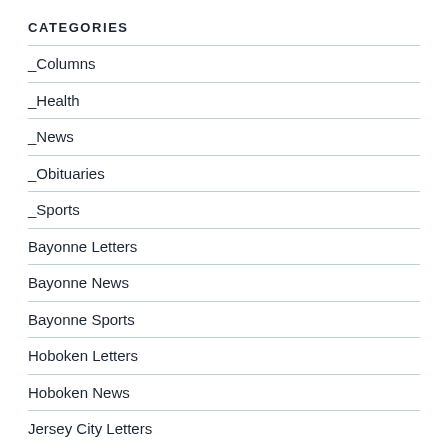CATEGORIES
_Columns
_Health
_News
_Obituaries
_Sports
Bayonne Letters
Bayonne News
Bayonne Sports
Hoboken Letters
Hoboken News
Jersey City Letters